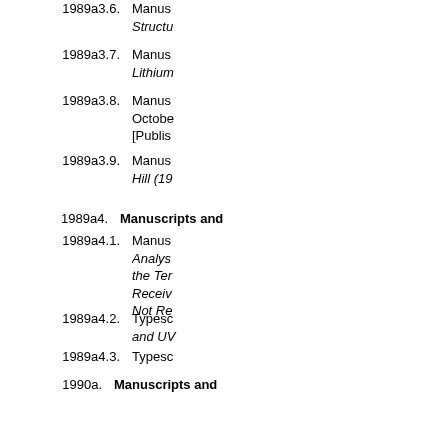1989a3.6. Manuscript: Structure...
1989a3.7. Manuscript: Lithium...
1989a3.8. Manuscript: October... [Publis...
1989a3.9. Manuscript: Hill (19...
1989a4. Manuscripts and ...
1989a4.1. Manuscript: Analysis... the Ter... Receiv... Not Re...
1989a4.2. Typescript: and UV...
1989a4.3. Typescript...
1990a. Manuscripts and ...
1990a.1. Manuscript: of the N... the Eve...
1990a.2. Typescript: Lipopro...
1990a.3. Typescript: Resear...